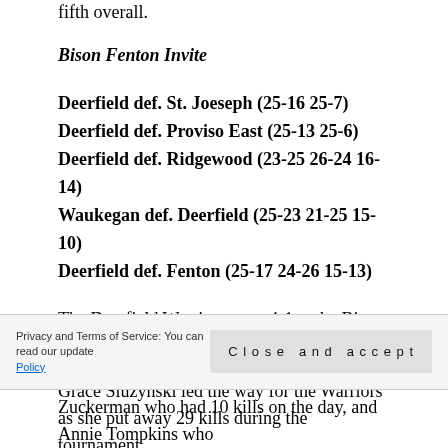fifth overall.
Bison Fenton Invite
Deerfield def. St. Joeseph (25-16 25-7)
Deerfield def. Proviso East (25-13 25-6)
Deerfield def. Ridgewood (23-25 26-24 16-14)
Waukegan def. Deerfield (25-23 21-25 15-10)
Deerfield def. Fenton (25-17 24-26 15-13)
The Deerfield Warriors went 4-1 at the Bison Fenton Invite to take home the championship.
Grace Sluzynski led the way for the Warriors as she put away 29 kills during the tournament.
The setting tandem of Hannah Lane and Emma Velkme dished out 58 and 51 assists respectively.
Zuckerman who had 10 kills on the day, and Annie Tompkins who